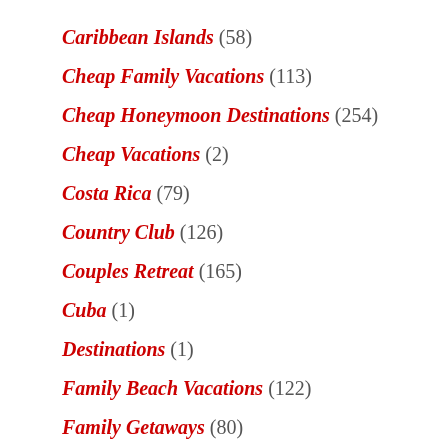Caribbean Islands (58)
Cheap Family Vacations (113)
Cheap Honeymoon Destinations (254)
Cheap Vacations (2)
Costa Rica (79)
Country Club (126)
Couples Retreat (165)
Cuba (1)
Destinations (1)
Family Beach Vacations (122)
Family Getaways (80)
Family Ranch (77)
First Class Hotel (141)